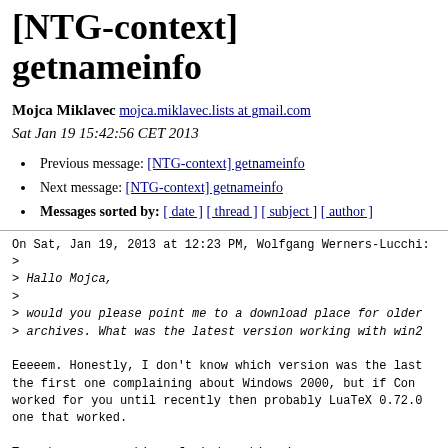[NTG-context] getnameinfo
Mojca Miklavec mojca.miklavec.lists at gmail.com
Sat Jan 19 15:42:56 CET 2013
Previous message: [NTG-context] getnameinfo
Next message: [NTG-context] getnameinfo
Messages sorted by: [ date ] [ thread ] [ subject ] [ author ]
On Sat, Jan 19, 2013 at 12:23 PM, Wolfgang Werners-Lucchi:
>
> Hallo Mojca,
>
> would you please point me to a download place for older
> archives. What was the latest version working with win2

Eeeeem. Honestly, I don't know which version was the last
the first one complaining about Windows 2000, but if Con
worked for you until recently then probably LuaTeX 0.72.0
one that worked.

Taco keeps an archive of windows binaries on
    http://foundry.supelec.fr/gf/project/luatex/frs/
    (click on package name to get the list of older relea
but they were compiled on a different compiler, so you ne
yourself whether they work for you or not.